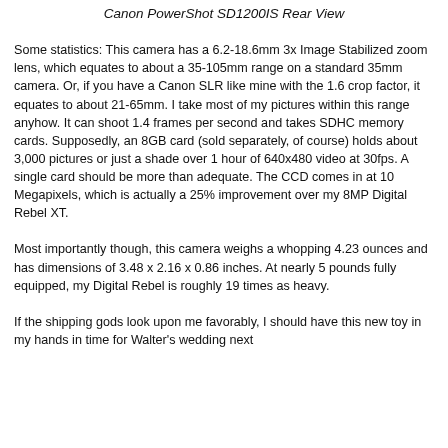Canon PowerShot SD1200IS Rear View
Some statistics: This camera has a 6.2-18.6mm 3x Image Stabilized zoom lens, which equates to about a 35-105mm range on a standard 35mm camera. Or, if you have a Canon SLR like mine with the 1.6 crop factor, it equates to about 21-65mm. I take most of my pictures within this range anyhow. It can shoot 1.4 frames per second and takes SDHC memory cards. Supposedly, an 8GB card (sold separately, of course) holds about 3,000 pictures or just a shade over 1 hour of 640x480 video at 30fps. A single card should be more than adequate. The CCD comes in at 10 Megapixels, which is actually a 25% improvement over my 8MP Digital Rebel XT.
Most importantly though, this camera weighs a whopping 4.23 ounces and has dimensions of 3.48 x 2.16 x 0.86 inches. At nearly 5 pounds fully equipped, my Digital Rebel is roughly 19 times as heavy.
If the shipping gods look upon me favorably, I should have this new toy in my hands in time for Walter's wedding next